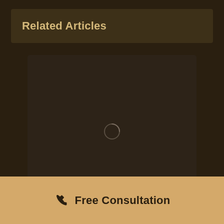Related Articles
[Figure (other): Dark placeholder image area with a circular loading spinner ring in the center]
Free Consultation